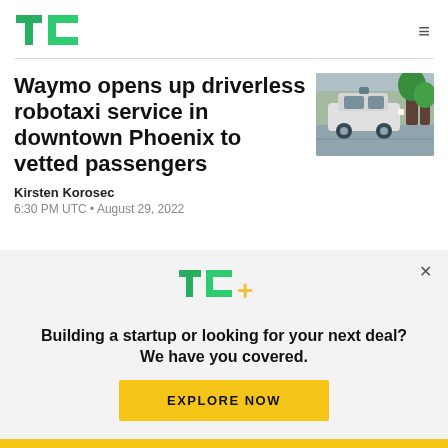TC
Waymo opens up driverless robotaxi service in downtown Phoenix to vetted passengers
[Figure (photo): A Waymo self-driving car (white Jaguar I-PACE) on a street in downtown Phoenix]
Kirsten Korosec
6:30 PM UTC • August 29, 2022
[Figure (logo): TC+ logo in green and yellow]
Building a startup or looking for your next deal? We have you covered.
EXPLORE NOW